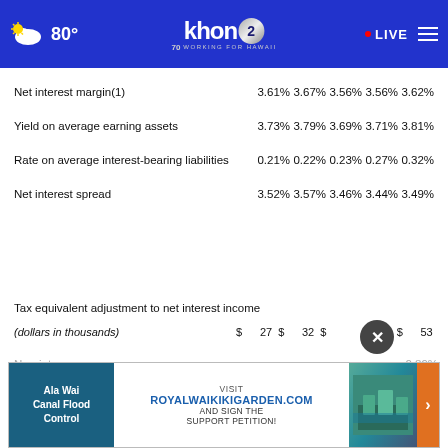KHON2 - Working for Hawaii - 80° LIVE
|  | Col1 | Col2 | Col3 | Col4 | Col5 |
| --- | --- | --- | --- | --- | --- |
| Net interest margin(1) | 3.61% | 3.67% | 3.56% | 3.56% | 3.62% |
| Yield on average earning assets | 3.73% | 3.79% | 3.69% | 3.71% | 3.81% |
| Rate on average interest-bearing liabilities | 0.21% | 0.22% | 0.23% | 0.27% | 0.32% |
| Net interest spread | 3.52% | 3.57% | 3.46% | 3.44% | 3.49% |
Tax equivalent adjustment to net interest income
(dollars in thousands) $ 27 $ 32 $ [hidden] 50 $ 53
Non-interest... 0.89% 0.86%
[Figure (screenshot): Advertisement banner for RoyalWaikikiGarden.com with Ala Wai Canal Flood Control text on the left side]